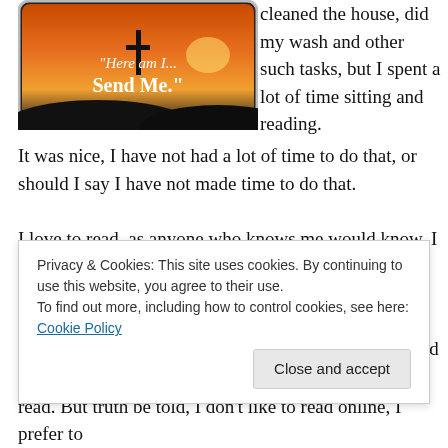[Figure (illustration): A decorative image with a sunset/landscape background showing silhouettes, with text overlay reading "Here am I... Send Me." in a rounded rectangular frame.]
cleaned the house, did my wash and other such tasks, but I spent a lot of time sitting and reading. It was nice, I have not had a lot of time to do that, or should I say I have not made time to do that.
I love to read, as anyone who knows me would know. I read all kinds of stuff, I read books for just pure entertainment, books on the Catholic faith, political (conservative) books and byes even some books on spirituality. I read Catholic and Political magazines and
Privacy & Cookies: This site uses cookies. By continuing to use this website, you agree to their use.
To find out more, including how to control cookies, see here: Cookie Policy
Close and accept
read. But truth be told, I don't like to read online, I prefer to